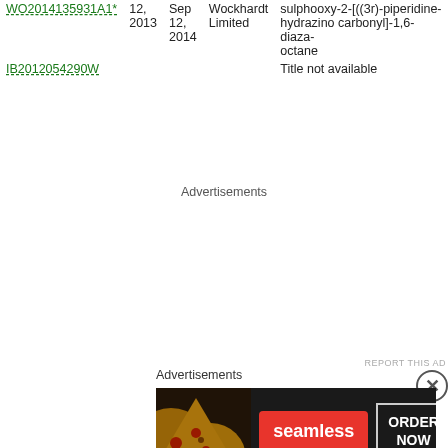| Patent | Filing Date | Publication Date | Assignee | Title |
| --- | --- | --- | --- | --- |
| WO2014135931A1* | Dec 12, 2013 | Sep 12, 2014 | Wockhardt Limited | sulphooxy-2-[((3r)-piperidine-hydrazino carbonyl]-1,6-diaza-octane |
| IB2012054290W |  |  |  | Title not available |
Advertisements
Advertisements
[Figure (other): Seamless food ordering advertisement banner showing pizza slices on dark background with red Seamless logo button and ORDER NOW button]